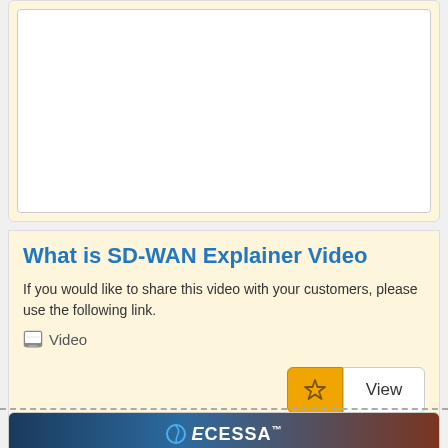[Figure (screenshot): White content area card with light yellow background, top portion of a card showing a white inner box]
What is SD-WAN Explainer Video
If you would like to share this video with your customers, please use the following link.
Video
[Figure (screenshot): Ecessa logo banner with dark blue and brown gradient background showing the Ecessa logo text]